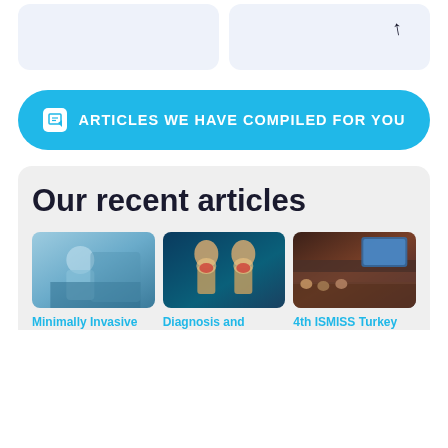[Figure (other): Two light blue card placeholders at the top of the page]
ARTICLES WE HAVE COMPILED FOR YOU
Our recent articles
[Figure (photo): Photo of a surgeon in operating room performing minimally invasive surgery]
Minimally Invasive
[Figure (photo): Medical illustration of knee joints showing diagnosis]
Diagnosis and
[Figure (photo): Photo of ISMISS Turkey conference audience]
4th ISMISS Turkey